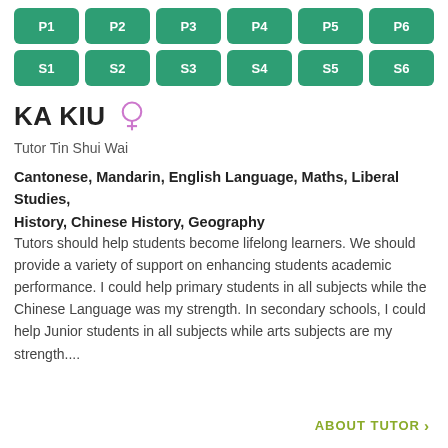P1, P2, P3, P4, P5, P6, S1, S2, S3, S4, S5, S6 (grade level buttons)
KA KIU (female)
Tutor Tin Shui Wai
Cantonese, Mandarin, English Language, Maths, Liberal Studies, History, Chinese History, Geography
Tutors should help students become lifelong learners. We should provide a variety of support on enhancing students academic performance. I could help primary students in all subjects while the Chinese Language was my strength. In secondary schools, I could help Junior students in all subjects while arts subjects are my strength....
ABOUT TUTOR >